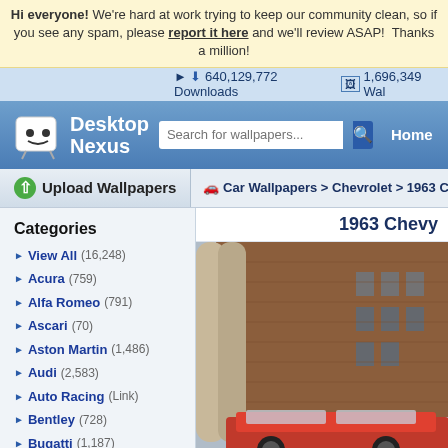Hi everyone! We're hard at work trying to keep our community clean, so if you see any spam, please report it here and we'll review ASAP! Thanks a million!
640,129,772 Downloads   1,696,349 Wal...
Desktop Nexus - Search for wallpapers... - Home
Upload Wallpapers
Car Wallpapers > Chevrolet > 1963 Ch...
Categories
View All (16,248)
Acura (759)
Alfa Romeo (791)
Ascari (70)
Aston Martin (1,486)
Audi (2,583)
Auto Racing (Link)
Bentley (728)
Bugatti (1,187)
Buick (882)
BMW (3,416)
Cadillac (1,167)
Chevrolet (14,550)
Chrysler (509)
Citroen (481)
1963 Chevy
[Figure (photo): Photograph of a 1963 Chevy car parked in front of a brick building with deteriorating facade]